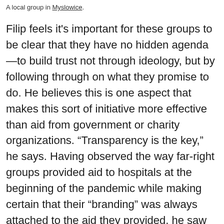A local group in Myslowice.
Filip feels it's important for these groups to be clear that they have no hidden agenda—to build trust not through ideology, but by following through on what they promise to do. He believes this is one aspect that makes this sort of initiative more effective than aid from government or charity organizations. “Transparency is the key,” he says. Having observed the way far-right groups provided aid to hospitals at the beginning of the pandemic while making certain that their “branding” was always attached to the aid they provided, he saw these groups’ efforts as a blatant attempt to gain credibility, and envisioned this mutual aid network as prioritizing what people needed over the promotion of ideals.